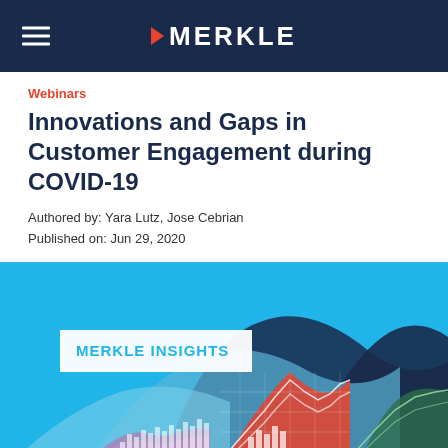MERKLE
Webinars
Innovations and Gaps in Customer Engagement during COVID-19
Authored by: Yara Lutz, Jose Cebrian
Published on: Jun 29, 2020
[Figure (illustration): Merkle Insights branded illustration showing stylized colorful data charts and mountain-like graph shapes on a bright blue background]
Join Merkle experts Yara Lutz and Jose Cebrian as they discuss